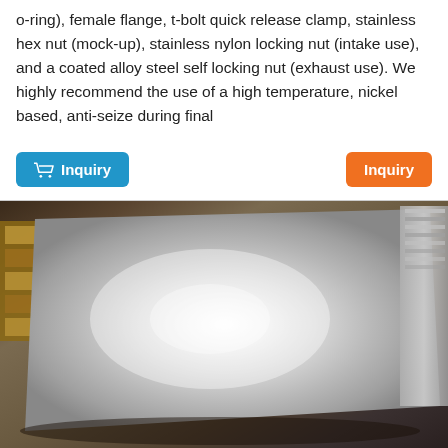o-ring), female flange, t-bolt quick release clamp, stainless hex nut (mock-up), stainless nylon locking nut (intake use), and a coated alloy steel self locking nut (exhaust use). We highly recommend the use of a high temperature, nickel based, anti-seize during final
[Figure (other): Blue inquiry button with shopping cart icon on the left side]
[Figure (other): Orange inquiry button on the right side]
[Figure (photo): Photo of a large flat sheet of metal (stainless or galvanized steel sheet) viewed from above, with wooden pallets stacked in the background, lit from above showing a bright reflective center and darker edges]